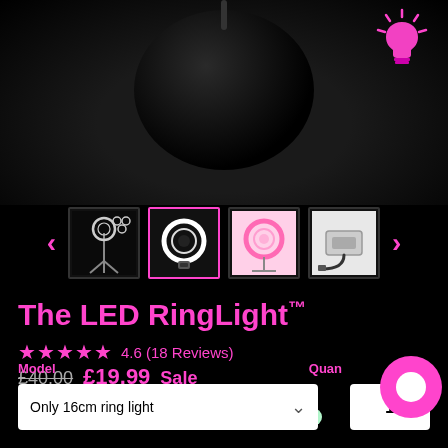[Figure (photo): Dark background product image of LED ring light with sphere silhouette and glowing light bulb icon in pink/magenta in top right corner]
[Figure (photo): Thumbnail image strip showing 4 product images: ring light set with stand, selected ring light close-up (pink border), ring light in pink, ring light cable/adapter. Navigation arrows on left and right.]
The LED RingLight™
★★★★★ 4.6 (18 Reviews)
£40.00 £19.99 Sale
or 4 interest-free payments of £5.00 with Sezzle
or 4 interest-free payments of £5.00 with clearpay
Model
Quantity
Only 16cm ring light
1